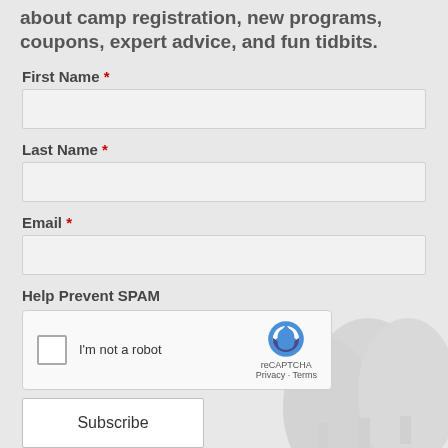about camp registration, new programs, coupons, expert advice, and fun tidbits.
First Name *
Last Name *
Email *
Help Prevent SPAM
[Figure (other): reCAPTCHA widget with checkbox labeled 'I'm not a robot' and reCAPTCHA logo with Privacy and Terms links]
Subscribe